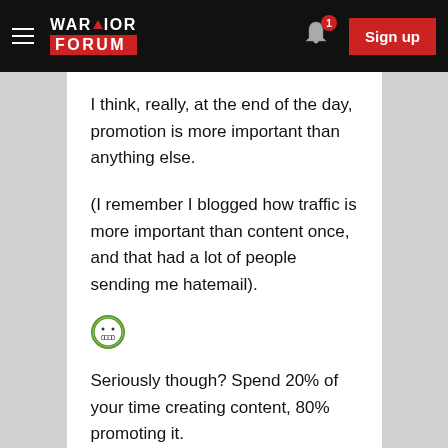WARRIOR FORUM — Sign up
I think, really, at the end of the day, promotion is more important than anything else.
(I remember I blogged how traffic is more important than content once, and that had a lot of people sending me hatemail).
[Figure (illustration): Grimacing/grinning emoji face in green circle]
Seriously though? Spend 20% of your time creating content, 80% promoting it.